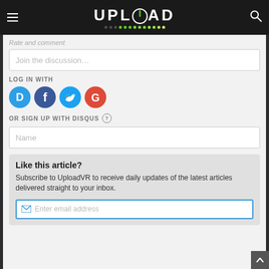[Figure (logo): UPLOAD VR logo in white on black background with green dot pattern underneath]
Rate and comment
Join the discussion…
LOG IN WITH
[Figure (infographic): Four social login buttons: Disqus (D, blue), Facebook (f, dark blue), Twitter (bird, light blue), Google (G, red)]
OR SIGN UP WITH DISQUS ?
Name
Like this article?
Subscribe to UploadVR to receive daily updates of the latest articles delivered straight to your inbox.
Enter email address